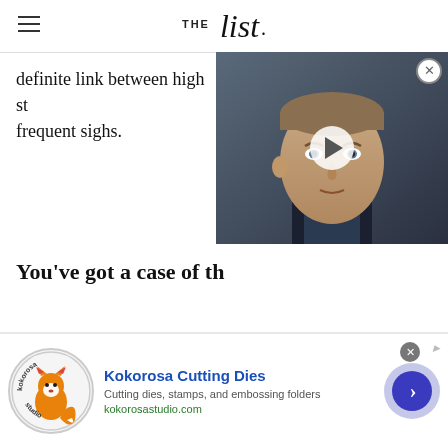THE list
definite link between high st... frequent sighs.
[Figure (photo): Video overlay showing a man (Prince William) in a dark suit, with a play button in the center and a close button in the top right corner.]
You've got a case of th...
[Figure (infographic): Advertisement banner for Kokorosa Cutting Dies showing logo with a fox illustration, ad title, description, URL, and a blue arrow button.]